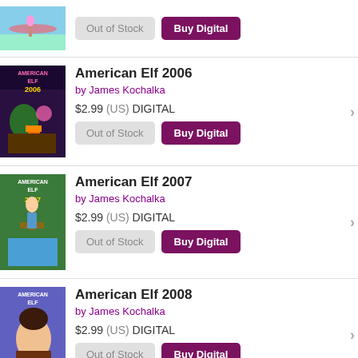[Figure (illustration): Book cover thumbnail for an American Elf book (sky blue and brown tones), partially visible at top]
Out of Stock | Buy Digital (row 0 buttons)
[Figure (illustration): American Elf 2006 book cover - dark purple/green background with campfire scene and ELF character]
American Elf 2006
by James Kochalka
$2.99 (US) DIGITAL
Out of Stock | Buy Digital
[Figure (illustration): American Elf 2007 book cover - green background with elf character on a raft on water]
American Elf 2007
by James Kochalka
$2.99 (US) DIGITAL
Out of Stock | Buy Digital
[Figure (illustration): American Elf 2008 book cover - blue/purple background with female character]
American Elf 2008
by James Kochalka
$2.99 (US) DIGITAL
Out of Stock | Buy Digital
[Figure (illustration): American Elf 2009 book cover - yellow/orange background, partially visible]
American Elf 2009
by James Kochalka